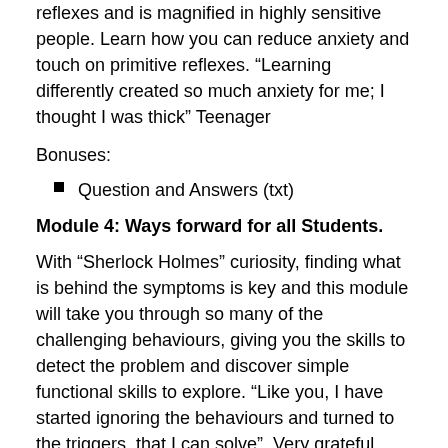reflexes and is magnified in highly sensitive people. Learn how you can reduce anxiety and touch on primitive reflexes. “Learning differently created so much anxiety for me; I thought I was thick” Teenager
Bonuses:
Question and Answers (txt)
Module 4: Ways forward for all Students.
With “Sherlock Holmes” curiosity, finding what is behind the symptoms is key and this module will take you through so many of the challenging behaviours, giving you the skills to detect the problem and discover simple functional skills to explore. “Like you, I have started ignoring the behaviours and turned to the triggers, that I can solve”. Very grateful mum